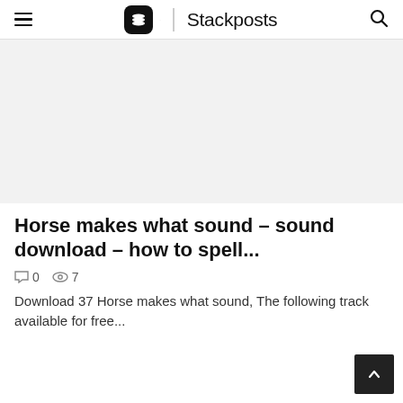Stackposts
[Figure (photo): Light gray placeholder image for article thumbnail]
Horse makes what sound - sound download - how to spell...
0  7
Download 37 Horse makes what sound, The following track available for free...